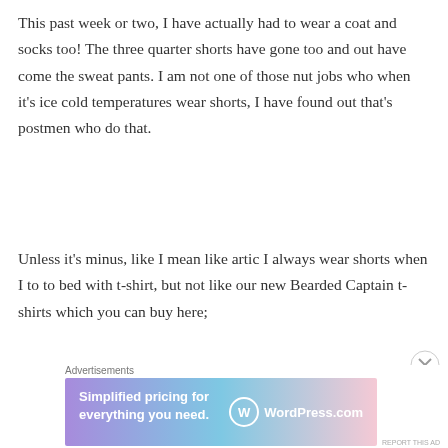This past week or two, I have actually had to wear a coat and socks too! The three quarter shorts have gone too and out have come the sweat pants. I am not one of those nut jobs who when it's ice cold temperatures wear shorts, I have found out that's postmen who do that.
Unless it's minus, like I mean like artic I always wear shorts when I to to bed with t-shirt, but not like our new Bearded Captain t-shirts which you can buy here;
Advertisements
[Figure (other): WordPress.com advertisement banner with gradient background (purple to blue to pink), text 'Simplified pricing for everything you need.' and WordPress.com logo on the right.]